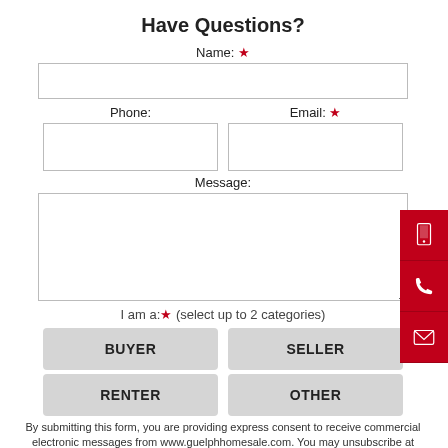Have Questions?
Name: *
Phone:
Email: *
Message:
I am a: * (select up to 2 categories)
BUYER
SELLER
RENTER
OTHER
By submitting this form, you are providing express consent to receive commercial electronic messages from www.guelphhomesale.com. You may unsubscribe at any time.